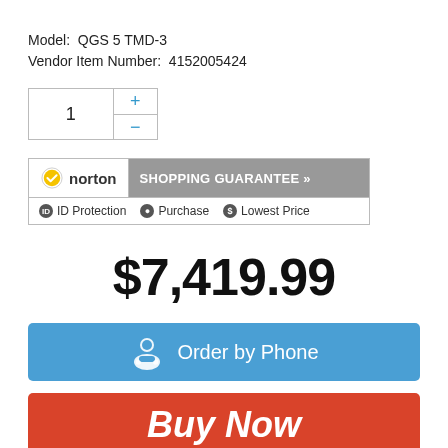Model:  QGS 5 TMD-3
Vendor Item Number:  4152005424
[Figure (screenshot): Quantity selector box with number 1 and plus/minus buttons]
[Figure (logo): Norton Shopping Guarantee badge with ID Protection, Purchase, and Lowest Price icons]
$7,419.99
[Figure (other): Order by Phone button (blue) with headset icon]
[Figure (other): Buy Now button (red)]